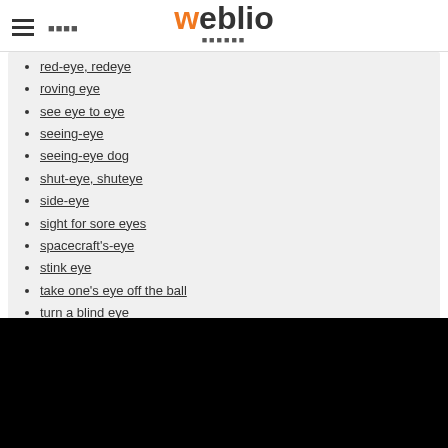weblio
red-eye, redeye
roving eye
see eye to eye
seeing-eye
seeing-eye dog
shut-eye, shuteye
side-eye
sight for sore eyes
spacecraft's-eye
stink eye
take one's eye off the ball
turn a blind eye
white-eye
翻訳語義
Sranan Tongo: ai
広